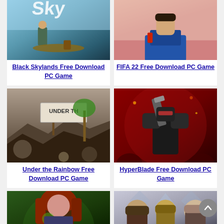[Figure (screenshot): Black Skylands game cover - partial top crop showing pirate/adventure scene]
Black Skylands Free Download PC Game
[Figure (screenshot): FIFA 22 game cover - partial top crop showing player in blue shirt]
FIFA 22 Free Download PC Game
[Figure (screenshot): Under the Rainbow game cover - dark rocky landscape with sign]
Under the Rainbow Free Download PC Game
[Figure (screenshot): HyperBlade game cover - dark red background with armored character]
HyperBlade Free Download PC Game
[Figure (screenshot): Fifth game cover - fantasy character with red hair, partial bottom]
[Figure (screenshot): Sixth game cover - three characters on light background, partial bottom]